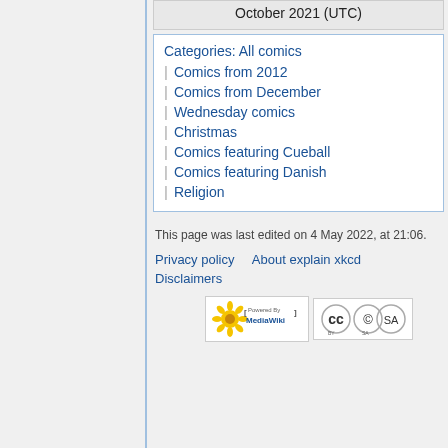October 2021 (UTC)
Categories: All comics
Comics from 2012
Comics from December
Wednesday comics
Christmas
Comics featuring Cueball
Comics featuring Danish
Religion
This page was last edited on 4 May 2022, at 21:06.
Privacy policy   About explain xkcd
Disclaimers